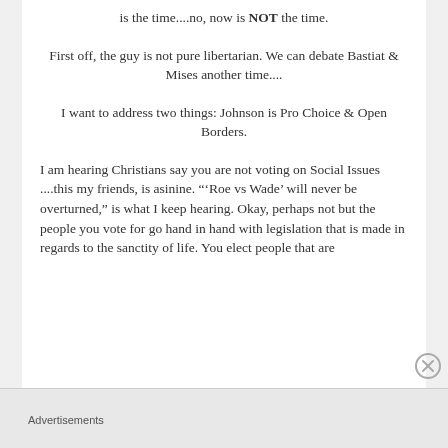is the time....no, now is NOT the time.
First off, the guy is not pure libertarian. We can debate Bastiat & Mises another time....
I want to address two things: Johnson is Pro Choice & Open Borders.
I am hearing Christians say you are not voting on Social Issues ....this my friends, is asinine. “‘Roe vs Wade’ will never be overturned,” is what I keep hearing. Okay, perhaps not but the people you vote for go hand in hand with legislation that is made in regards to the sanctity of life. You elect people that are
Advertisements